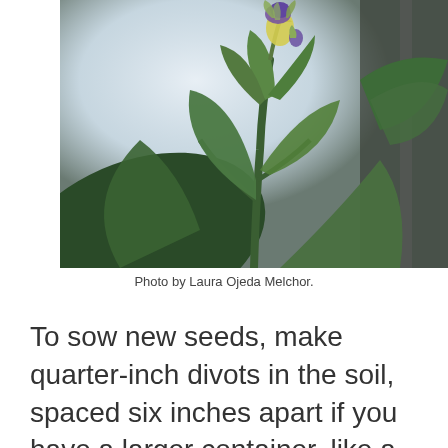[Figure (photo): Close-up photograph of a green leafy plant with a small purple and yellow flower, photographed near a window with soft light in the background.]
Photo by Laura Ojeda Melchor.
To sow new seeds, make quarter-inch divots in the soil, spaced six inches apart if you have a larger container, like a windowsill box.